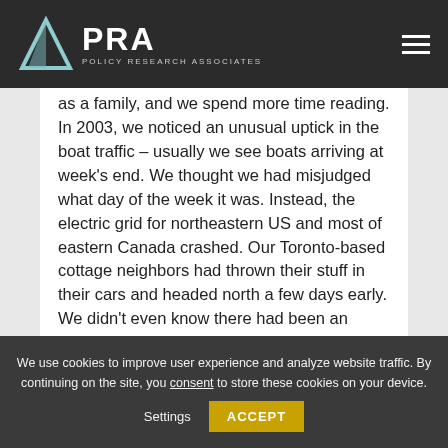APRA POLICY RESEARCH ASSOCIATES
as a family, and we spend more time reading. In 2003, we noticed an unusual uptick in the boat traffic – usually we see boats arriving at week's end. We thought we had misjudged what day of the week it was. Instead, the electric grid for northeastern US and most of eastern Canada crashed. Our Toronto-based cottage neighbors had thrown their stuff in their cars and headed north a few days early. We didn't even know there had been an
We use cookies to improve user experience and analyze website traffic. By continuing on the site, you consent to store these cookies on your device. Settings ACCEPT